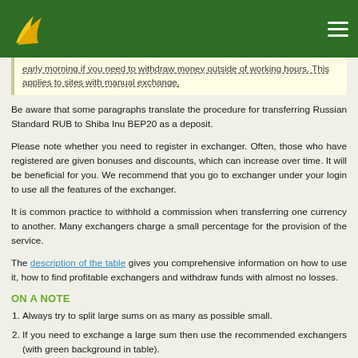early morning if you need to withdraw money outside of working hours. This applies to sites with manual exchange.
Be aware that some paragraphs translate the procedure for transferring Russian Standard RUB to Shiba Inu BEP20 as a deposit.
Please note whether you need to register in exchanger. Often, those who have registered are given bonuses and discounts, which can increase over time. It will be beneficial for you. We recommend that you go to exchanger under your login to use all the features of the exchanger.
It is common practice to withhold a commission when transferring one currency to another. Many exchangers charge a small percentage for the provision of the service.
The description of the table gives you comprehensive information on how to use it, how to find profitable exchangers and withdraw funds with almost no losses.
ON A NOTE
Always try to split large sums on as many as possible small.
If you need to exchange a large sum then use the recommended exchangers (with green background in table).
If the exchange was not made on time then, it is recommended to write a claim.